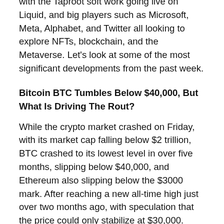with the Taproot soft work going live on Liquid, and big players such as Microsoft, Meta, Alphabet, and Twitter all looking to explore NFTs, blockchain, and the Metaverse. Let's look at some of the most significant developments from the past week.
Bitcoin BTC Tumbles Below $40,000, But What Is Driving The Rout?
While the crypto market crashed on Friday, with its market cap falling below $2 trillion, BTC crashed to its lowest level in over five months, slipping below $40,000, and Ethereum also slipping below the $3000 mark. After reaching a new all-time high just over two months ago, with speculation that the price could only stabilize at $30,000. Speculation is also rife that the reason behind the slump could be due to the release of a paper titled “Cryptocurrencies: Trends, Risks, and Regulation” by the Bank of Russia, which proposes a blanket ban on crypto.
Erdogan-Bukele Meet Could Feature Healthy